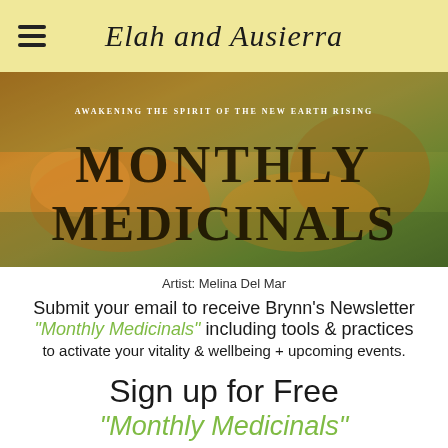Elah and Ausierra
[Figure (illustration): Banner image with artistic illustration of a reclining figure in warm earth tones. Text overlay reads: 'Awakening the Spirit of the New Earth Rising' and 'Monthly Medicinals' in large decorative font.]
Artist: Melina Del Mar
Submit your email to receive Brynn's Newsletter "Monthly Medicinals" including tools & practices to activate your vitality & wellbeing + upcoming events.
Sign up for Free "Monthly Medicinals" Newsletter